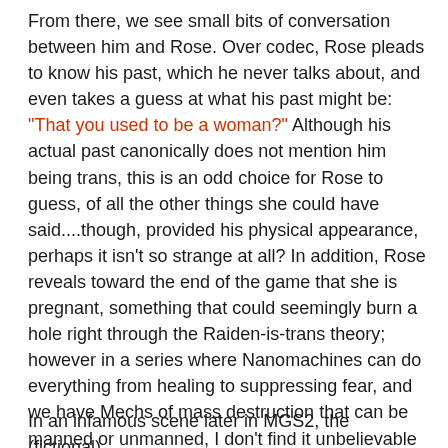From there, we see small bits of conversation between him and Rose. Over codec, Rose pleads to know his past, which he never talks about, and even takes a guess at what his past might be: "That you used to be a woman?" Although his actual past canonically does not mention him being trans, this is an odd choice for Rose to guess, of all the other things she could have said....though, provided his physical appearance, perhaps it isn't so strange at all? In addition, Rose reveals toward the end of the game that she is pregnant, something that could seemingly burn a hole right through the Raiden-is-trans theory; however in a series where Nanomachines can do everything from healing to suppressing fear, and we have Mechs of mass destruction that can be manned or unmanned, I don't find it unbelievable in the slightest that said Nanomachines could produce sperm for a transman.
In an infamous scene later in MGS2, the (fictional)